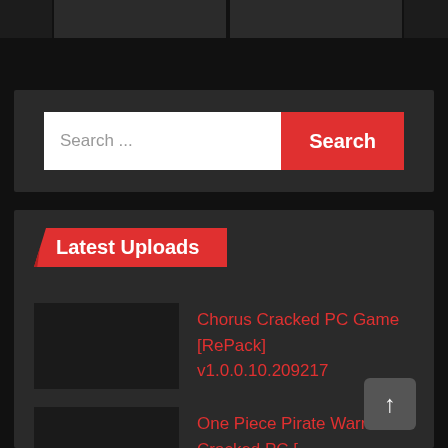[Figure (screenshot): Top navigation bar with dark background and gray banner sections]
[Figure (screenshot): Search bar with white input field and red Search button]
Latest Uploads
Chorus Cracked PC Game [RePack] v1.0.0.10.209217
One Piece Pirate Warriors 4 Cracked PC [RePack]